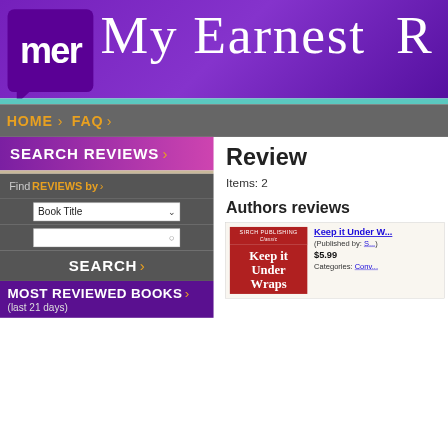[Figure (logo): MER logo - purple speech bubble with 'mer' text in white]
My Earnest R...
HOME > FAQ >
SEARCH REVIEWS >
Find REVIEWS by >
Book Title (dropdown)
SEARCH >
MOST REVIEWED BOOKS > (last 21 days)
Review...
Items: 2
Authors reviews
[Figure (photo): Book cover: Keep it Under Wraps by Sirch Publishing]
Keep it Under W...
(Published by: S...
$5.99
Categories: Conv...